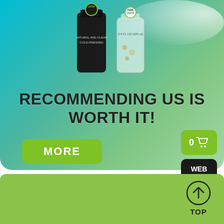[Figure (photo): Product bottles on teal/green gradient background with foggy white mist at top right]
RECOMMENDING US IS WORTH IT!
[Figure (illustration): Green rounded button labeled MORE]
[Figure (illustration): Green rounded button with 0 and shopping cart icon]
[Figure (illustration): Black rounded button labeled WEB SHOP]
[Figure (illustration): Lime green footer bar with TOP back-to-top arrow button]